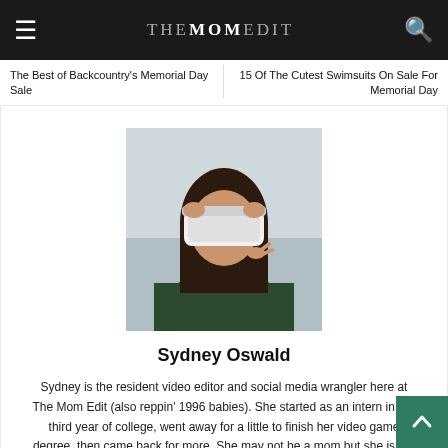THE MOM EDIT
The Best of Backcountry's Memorial Day Sale
15 Of The Cutest Swimsuits On Sale For Memorial Day
[Figure (photo): Photo of Sydney Oswald holding a VR headset up to her face, outdoors, wearing a dark jacket]
Sydney Oswald
Sydney is the resident video editor and social media wrangler here at The Mom Edit (also reppin' 1996 babies). She started as an intern in her third year of college, went away for a little to finish her video game degree, then came back for more. She may not be a mom but she is the Mom Friend with a Dad's Sense of Humor. When not at work she's either playing a game, working on a game, or trying a new bread recipe.